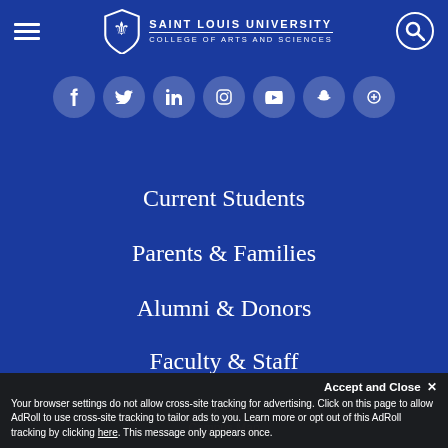SAINT LOUIS UNIVERSITY — COLLEGE OF ARTS AND SCIENCES
[Figure (other): Social media icon row with 7 circular icons (Facebook, Twitter, LinkedIn, Instagram, YouTube, and others) in white on blue background]
Current Students
Parents & Families
Alumni & Donors
Faculty & Staff
mySLU
Campus Map
Accept and Close ✕
Your browser settings do not allow cross-site tracking for advertising. Click on this page to allow AdRoll to use cross-site tracking to tailor ads to you. Learn more or opt out of this AdRoll tracking by clicking here. This message only appears once.